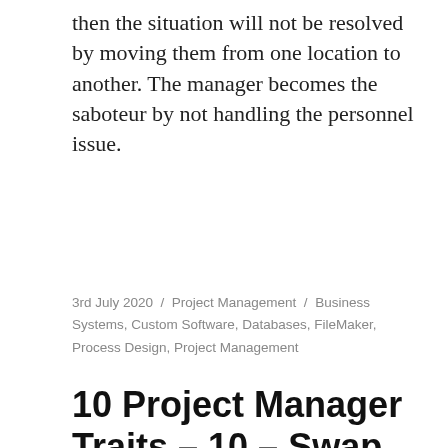then the situation will not be resolved by moving them from one location to another. The manager becomes the saboteur by not handling the personnel issue.
3rd July 2020 / Project Management / Business Systems, Custom Software, Databases, FileMaker, Process Design, Project Management
10 Project Manager Traits – 10 – Swap outs
[Figure (infographic): Dark blue slide numbered '10' showing 'Swap outs - Continuos changes in project managers' with arrows and dotted lines in yellow, white, and purple illustrating multiple incomplete projects. Text 'Leads to: Multiple incomplete projects' visible.]